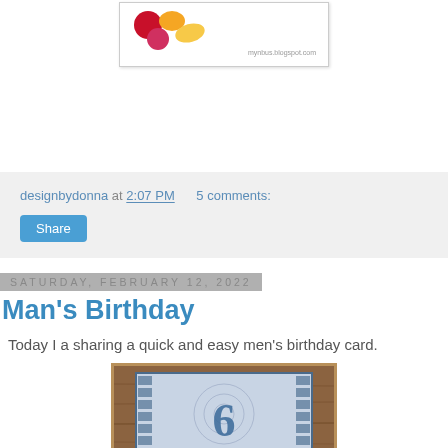[Figure (photo): Blog header image with colorful blobs and URL mynbus.blogspot.com]
designbydonna at 2:07 PM   5 comments:
Share
Saturday, February 12, 2022
Man's Birthday
Today I a sharing a quick and easy men's birthday card.
[Figure (photo): Birthday card photo showing a card with blue mandala pattern and large number on wooden background]